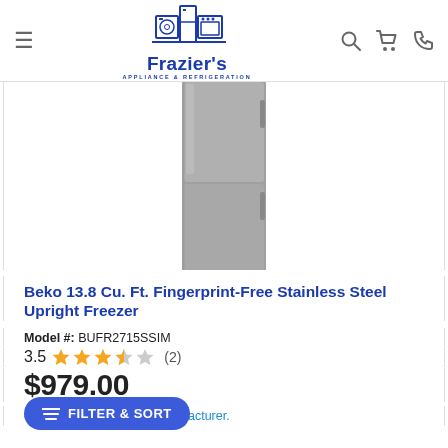Frazier's Appliance & Refrigeration
[Figure (photo): Beko upright freezer in stainless steel finish, front view on white background]
Beko 13.8 Cu. Ft. Fingerprint-Free Stainless Steel Upright Freezer
Model #: BUFR2715SSIM
3.5 (2) — 3.5 out of 5 stars, 2 reviews
$979.00
on back order from the manufacturer.